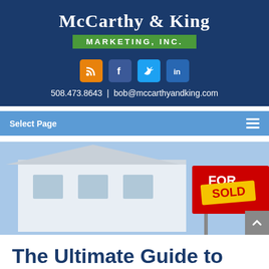[Figure (logo): McCarthy & King Marketing, Inc. logo with company name in serif white text and green bar with 'MARKETING, INC.' text on dark blue background, with social media icons (RSS, Facebook, Twitter, LinkedIn) below and contact info]
508.473.8643  |  bob@mccarthyandking.com
Select Page
[Figure (photo): Photo of a white house with a red FOR SALE sign showing SOLD sticker in yellow]
The Ultimate Guide to Real Estate Farming
How to get more home listings with